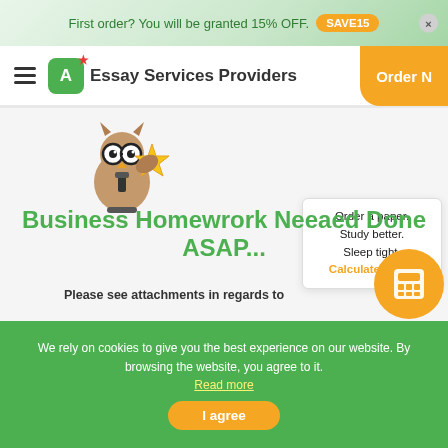First order? You will be granted 15% OFF. SAVE15
Essay Services Providers | Order Now
[Figure (illustration): Owl mascot holding a gold star, wearing glasses and a tie]
Order a paper. Study better. Sleep tight. Calculate Price!
Business Homewrork Neeaed Done ASAP...
Please see attachments in regards to
[Figure (other): Orange circle with calculator icon]
We rely on cookies to give you the best experience on our website. By browsing the website, you agree to it.
Read more
I agree